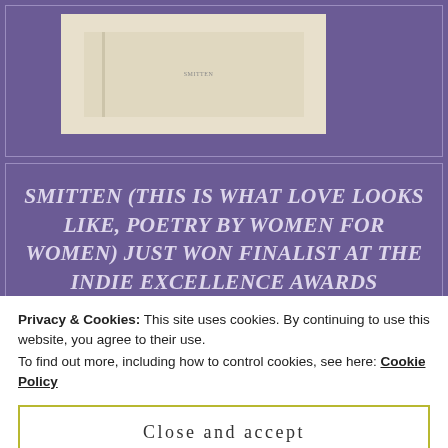[Figure (illustration): Book cover image showing a cream/beige colored book, displayed inside a purple-bordered frame on a purple background.]
SMITTEN (THIS IS WHAT LOVE LOOKS LIKE, POETRY BY WOMEN FOR WOMEN) JUST WON FINALIST AT THE INDIE EXCELLENCE AWARDS CONGRATULATIONS TO ALL WRITERS IN THIS AMAZING ANTHOLOGY. PURCHASE A COPY TODAY!
Privacy & Cookies: This site uses cookies. By continuing to use this website, you agree to their use.
To find out more, including how to control cookies, see here: Cookie Policy
Close and accept
[Figure (illustration): Colorful strip at the bottom showing partial view of a colorful book cover with orange, red, yellow, and black design elements.]